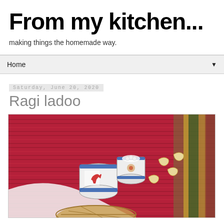From my kitchen...
making things the homemade way.
Home ▼
Saturday, June 20, 2020
Ragi ladoo
[Figure (photo): Top-down photo of two small decorative cylindrical containers (one with a red horse motif, one with a floral pattern) on a dark red/maroon striped textile, with cashew nuts scattered nearby and part of a woven basket visible at the bottom.]